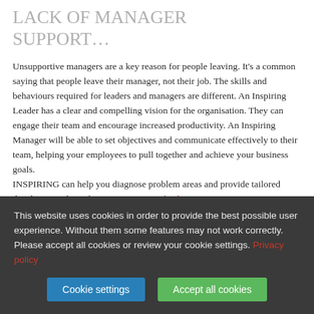LACK OF MANAGER SUPPORT…
Unsupportive managers are a key reason for people leaving. It's a common saying that people leave their manager, not their job. The skills and behaviours required for leaders and managers are different. An Inspiring Leader has a clear and compelling vision for the organisation. They can engage their team and encourage increased productivity. An Inspiring Manager will be able to set objectives and communicate effectively to their team, helping your employees to pull together and achieve your business goals.
INSPIRING can help you diagnose problem areas and provide tailored development through our Inspiring Leadership programmes
This website uses cookies in order to provide the best possible user experience. Without them some features may not work correctly. Please accept all cookies or review your cookie settings. Privacy policy